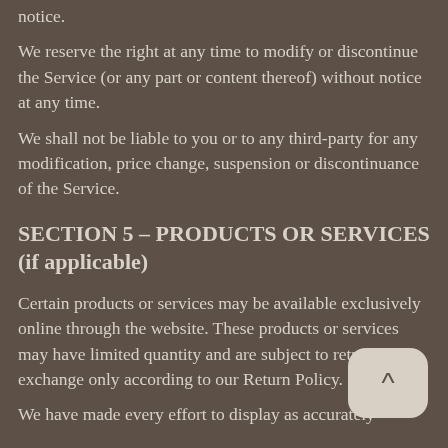notice.
We reserve the right at any time to modify or discontinue the Service (or any part or content thereof) without notice at any time.
We shall not be liable to you or to any third-party for any modification, price change, suspension or discontinuance of the Service.
SECTION 5 – PRODUCTS OR SERVICES (if applicable)
Certain products or services may be available exclusively online through the website. These products or services may have limited quantity and are subject to return or exchange only according to our Return Policy.
We have made every effort to display as accurately